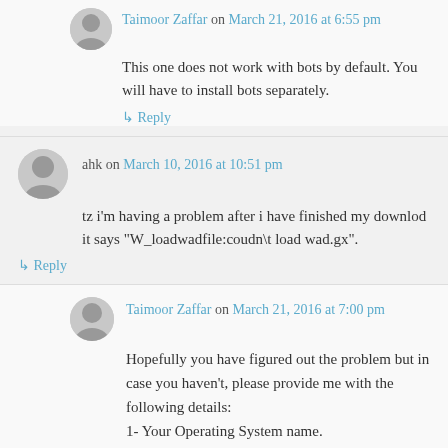Taimoor Zaffar on March 21, 2016 at 6:55 pm
This one does not work with bots by default. You will have to install bots separately.
↳ Reply
ahk on March 10, 2016 at 10:51 pm
tz i'm having a problem after i have finished my downlod it says "W_loadwadfile:coudn\t load wad.gx".
↳ Reply
Taimoor Zaffar on March 21, 2016 at 7:00 pm
Hopefully you have figured out the problem but in case you haven't, please provide me with the following details:
1- Your Operating System name.
2- Are you using any antivirus programs?
3- From where have you downloaded the game setup?